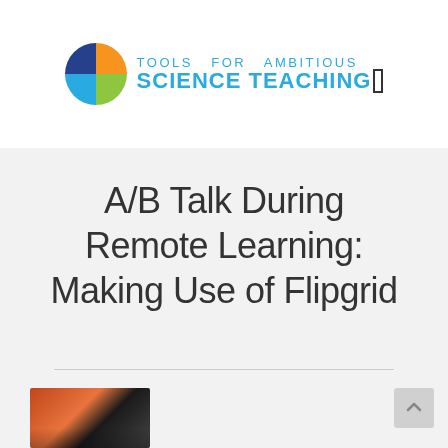[Figure (logo): Tools for Ambitious Science Teaching logo with four-color quadrant circle icon and text]
A/B Talk During Remote Learning: Making Use of Flipgrid
[Figure (photo): Partial photo of a person at the bottom of the page]